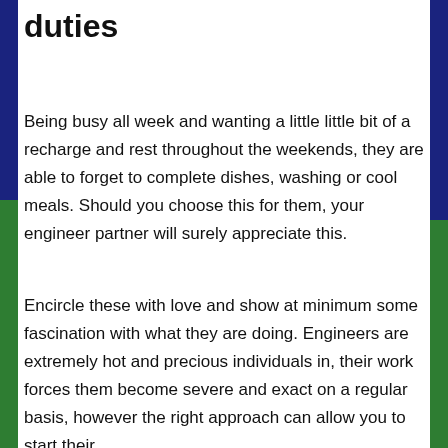duties
Being busy all week and wanting a little little bit of a recharge and rest throughout the weekends, they are able to forget to complete dishes, washing or cool meals. Should you choose this for them, your engineer partner will surely appreciate this.
Encircle these with love and show at minimum some fascination with what they are doing. Engineers are extremely hot and precious individuals in, their work forces them become severe and exact on a regular basis, however the right approach can allow you to start their